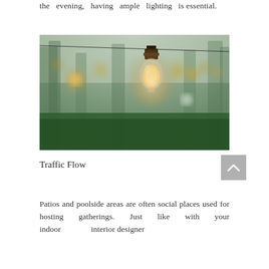the evening, having ample lighting is essential.
[Figure (photo): Outdoor string lights hanging from a wire in a garden setting at dusk. A close-up Edison bulb is prominent in the center foreground, with bokeh bokeh lights and blurred trees in the background.]
Traffic Flow
Patios and poolside areas are often social places used for hosting gatherings. Just like with your indoor interior designer